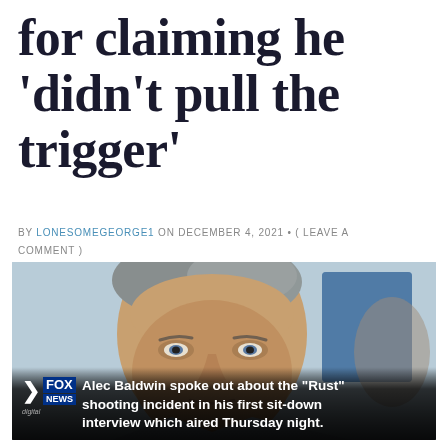for claiming he 'didn't pull the trigger'
BY LONESOMEGEORGE1 ON DECEMBER 4, 2021 • ( LEAVE A COMMENT )
[Figure (photo): Photo of Alec Baldwin with Fox News Digital caption overlay: 'Alec Baldwin spoke out about the "Rust" shooting incident in his first sit-down interview which aired Thursday night.' Fox News Digital logo in bottom left.]